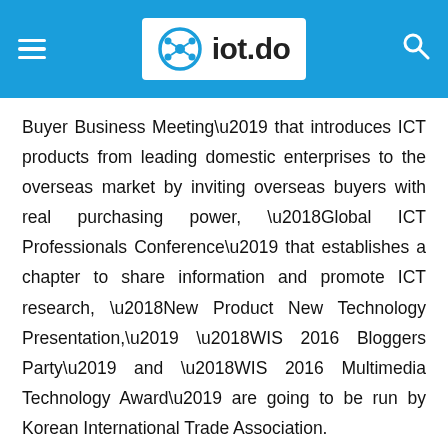iot.do
Buyer Business Meeting’ that introduces ICT products from leading domestic enterprises to the overseas market by inviting overseas buyers with real purchasing power, ‘Global ICT Professionals Conference’ that establishes a chapter to share information and promote ICT research, ‘New Product New Technology Presentation,’ ‘WIS 2016 Bloggers Party’ and ‘WIS 2016 Multimedia Technology Award’ are going to be run by Korean International Trade Association.
As World IT Show 2015 resulted 100 billion USD contracts, 421 companies from eight countries